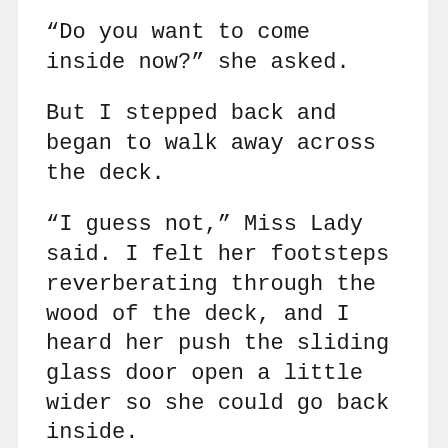“Do you want to come inside now?” she asked.
But I stepped back and began to walk away across the deck.
“I guess not,” Miss Lady said. I felt her footsteps reverberating through the wood of the deck, and I heard her push the sliding glass door open a little wider so she could go back inside.
“See?” The Goofy One’s voice floated out to me. “That’s exactly why I don’t want that cat in Lily’s room.”
I flattened my ears against the sound of his voice, and moments later, the glass door slid